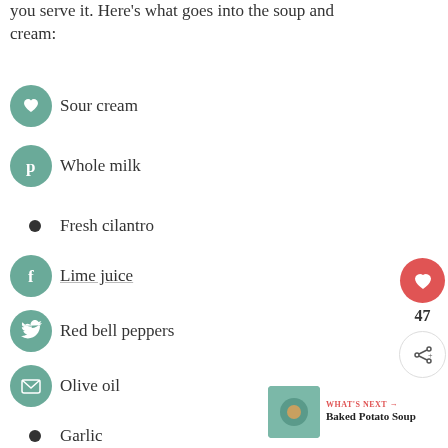you serve it. Here's what goes into the soup and cream:
Sour cream
Whole milk
Fresh cilantro
Lime juice
Red bell peppers
Olive oil
Garlic
Red onion